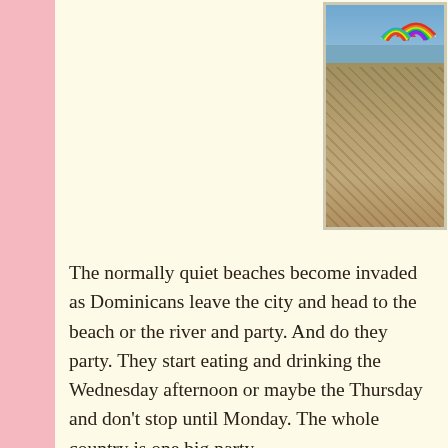[Figure (photo): Crowded beach scene with colorful rainbow umbrellas, many people sitting and standing on sand near water]
The normally quiet beaches become invaded as Dominicans leave the city and head to the beach or the river and party. And do they party. They start eating and drinking the Wednesday afternoon or maybe the Thursday and don't stop until Monday. The whole country is one big party.
[Figure (photo): A man in an orange t-shirt and baseball cap standing on a crowded beach with hundreds of people swimming in the water behind him]